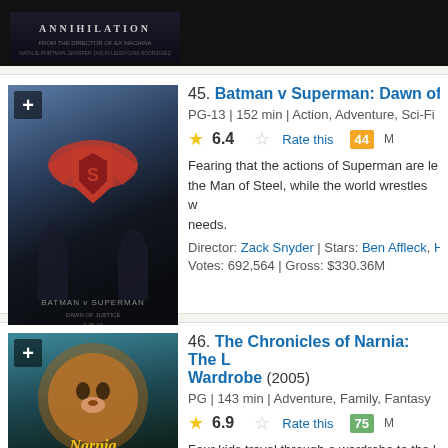[Figure (photo): Top stub: Annihilation movie poster (dark background, partial view)]
45. Batman v Superman: Dawn of Justice - PG-13 | 152 min | Action, Adventure, Sci-Fi - Rating: 6.4 - Metascore: 44 - Fearing that the actions of Superman are leaving unchecked, the Man of Steel, while the world wrestles with what kind of hero it needs. Director: Zack Snyder | Stars: Ben Affleck, Henry C... - Votes: 692,564 | Gross: $330.36M
46. The Chronicles of Narnia: The L... Wardrobe (2005) - PG | 143 min | Adventure, Family, Fantasy - Rating: 6.9 - Metascore: 75 - Four kids travel through a wardrobe to the land of Narnia and learn of their destiny to free it with the guidance of a mys... Director: Andrew Adamson | Stars: Tilda Swinton...